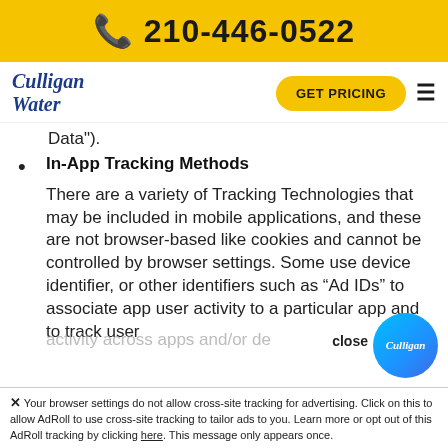📞 210-446-0522
[Figure (logo): Culligan Water logo in blue italic script]
Data").
In-App Tracking Methods
There are a variety of Tracking Technologies that may be included in mobile applications, and these are not browser-based like cookies and cannot be controlled by browser settings. Some use device identifier, or other identifiers such as “Ad IDs” to associate app user activity to a particular app and to track user activity across apps and/or de…
Your browser settings do not allow cross-site tracking for advertising. Click on this to allow AdRoll to use cross-site tracking to tailor ads to you. Learn more or opt out of this AdRoll tracking by clicking here. This message only appears once.